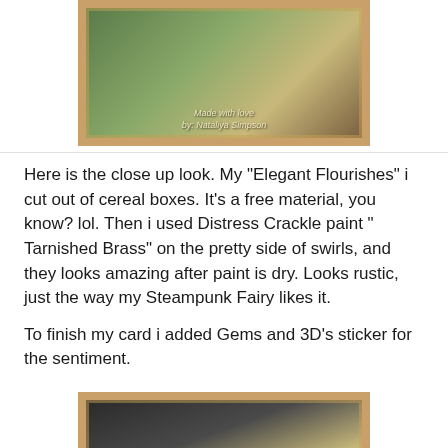[Figure (photo): A steampunk fairy craft card with ornate border, showing a fairy figure in green with text 'Made with love by: Nataliya Simpson']
Here is the close up look. My "Elegant Flourishes" i cut out of cereal boxes. It's a free material, you know? lol. Then i used Distress Crackle paint " Tarnished Brass" on the pretty side of swirls, and they looks amazing after paint is dry. Looks rustic, just the way my Steampunk Fairy likes it.
To finish my card i added Gems and 3D's sticker for the sentiment.
[Figure (photo): Close-up photo of craft card showing golden/brass colored decorative flourishes/swirls against a dark background with floral elements visible]